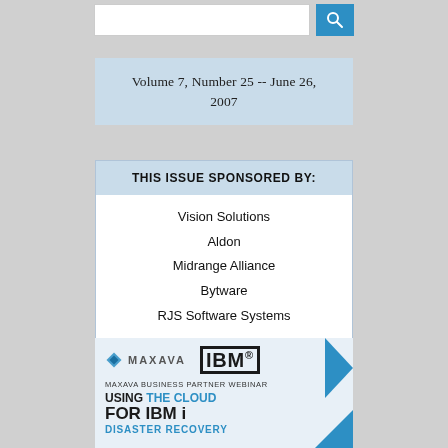[Figure (other): Search input box and blue search button with magnifying glass icon]
Volume 7, Number 25 -- June 26, 2007
THIS ISSUE SPONSORED BY:
Vision Solutions
Aldon
Midrange Alliance
Bytware
RJS Software Systems
[Figure (illustration): Maxava and IBM logo advertisement for Maxava Business Partner Webinar: Using the Cloud for IBM i Disaster Recovery]